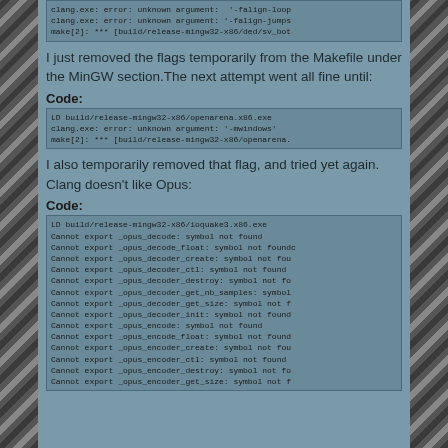clang.exe: error: unknown argument: '-falign-loops-
clang.exe: error: unknown argument: '-falign-jumps-
make[2]: *** [build/release-mingw32-x86/ded/sv_bot
I just removed the flags temporarily from the Makefile under the MinGW section.The next attempt went all fine until:
Code:
LD build/release-mingw32-x86/openarena.x86.exe
clang.exe: error: unknown argument: '-mwindows'
make[2]: *** [build/release-mingw32-x86/openarena.
I also temporarily removed that flag, and tried yet again. Clang doesn't like Opus:
Code:
LD build/release-mingw32-x86/ioquake3.x86.exe
Cannot export _opus_decode: symbol not found
Cannot export _opus_decode_float: symbol not found
Cannot export _opus_decoder_create: symbol not fou
Cannot export _opus_decoder_ctl: symbol not found
Cannot export _opus_decoder_destroy: symbol not fo
Cannot export _opus_decoder_get_nb_samples: symbol
Cannot export _opus_decoder_get_size: symbol not f
Cannot export _opus_decoder_init: symbol not found
Cannot export _opus_encode: symbol not found
Cannot export _opus_encode_float: symbol not found
Cannot export _opus_encoder_create: symbol not fou
Cannot export _opus_encoder_ctl: symbol not found
Cannot export _opus_encoder_destroy: symbol not fo
Cannot export _opus_encoder_get_size: symbol not f